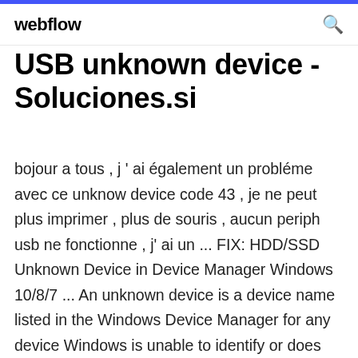webflow
USB unknown device - Soluciones.si
bojour a tous , j ' ai également un probléme avec ce unknow device code 43 , je ne peut plus imprimer , plus de souris , aucun periph usb ne fonctionne , j' ai un ... FIX: HDD/SSD Unknown Device in Device Manager Windows 10/8/7 ... An unknown device is a device name listed in the Windows Device Manager for any device Windows is unable to identify or does not have the drivers used to identify the device. Literally, the HDD/SSD/USB "Unknown Device" in Device Manager displays itself as disk unknown not initialized in Disk